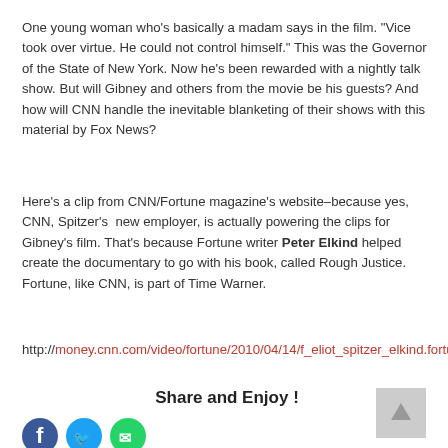One young woman who's basically a madam says in the film. "Vice took over virtue. He could not control himself." This was the Governor of the State of New York. Now he's been rewarded with a nightly talk show. But will Gibney and others from the movie be his guests? And how will CNN handle the inevitable blanketing of their shows with this material by Fox News?
Here's a clip from CNN/Fortune magazine's website–because yes, CNN, Spitzer's new employer, is actually powering the clips for Gibney's film. That's because Fortune writer Peter Elkind helped create the documentary to go with his book, called Rough Justice. Fortune, like CNN, is part of Time Warner.
http://money.cnn.com/video/fortune/2010/04/14/f_eliot_spitzer_elkind.fortune/
Share and Enjoy !